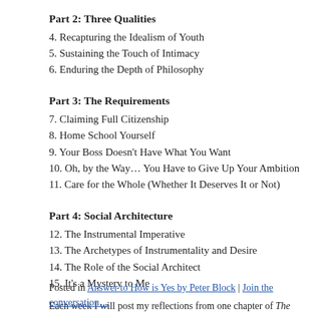Part 2: Three Qualities
4. Recapturing the Idealism of Youth
5. Sustaining the Touch of Intimacy
6. Enduring the Depth of Philosophy
Part 3: The Requirements
7. Claiming Full Citizenship
8. Home School Yourself
9. Your Boss Doesn't Have What You Want
10. Oh, by the Way… You Have to Give Up Your Ambition
11. Care for the Whole (Whether It Deserves It or Not)
Part 4: Social Architecture
12. The Instrumental Imperative
13. The Archetypes of Instrumentality and Desire
14. The Role of the Social Architect
15. It's a Mystery to Me
Each week I will post my reflections from one chapter of The Answer to How is Yes by Pe… are my own and are intended to generate conversation, catalyze additional thinking and e… Welcome to the discussion!
Posted in Answer to How is Yes by Peter Block | Join the conversation…